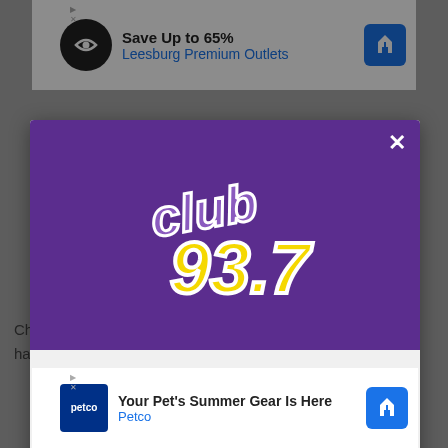[Figure (screenshot): Top advertisement banner: Save Up to 65% Leesburg Premium Outlets]
[Figure (logo): Club 93.7 radio station logo - purple and yellow stylized text on purple background]
DOWNLOAD THE CLUB 93.7 MOBILE APP
GET OUR FREE MOBILE APP
Also listen on:  amazon alexa
Christmas ... boss has dif... s trip
[Figure (screenshot): Bottom advertisement banner: Your Pet's Summer Gear Is Here - Petco]